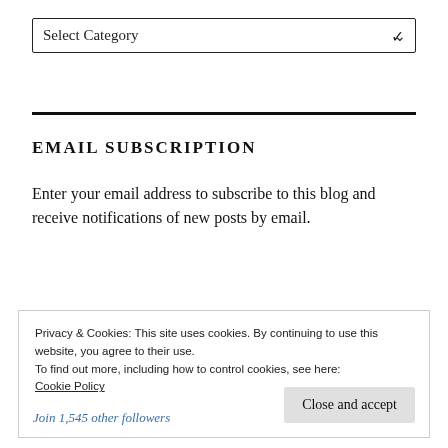[Figure (screenshot): A dropdown select box labeled 'Select Category' with a dropdown arrow icon on the right]
EMAIL SUBSCRIPTION
Enter your email address to subscribe to this blog and receive notifications of new posts by email.
Privacy & Cookies: This site uses cookies. By continuing to use this website, you agree to their use.
To find out more, including how to control cookies, see here:
Cookie Policy
Close and accept
Join 1,545 other followers